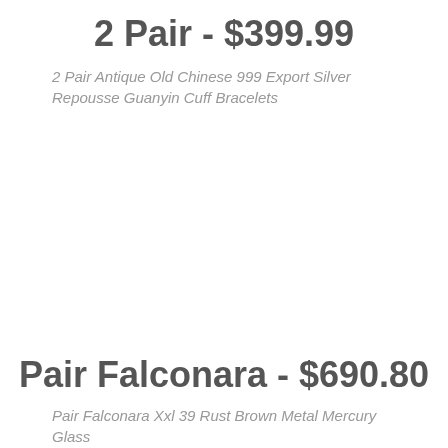2 Pair - $399.99
2 Pair Antique Old Chinese 999 Export Silver Repousse Guanyin Cuff Bracelets
Pair Falconara - $690.80
Pair Falconara Xxl 39 Rust Brown Metal Mercury Glass